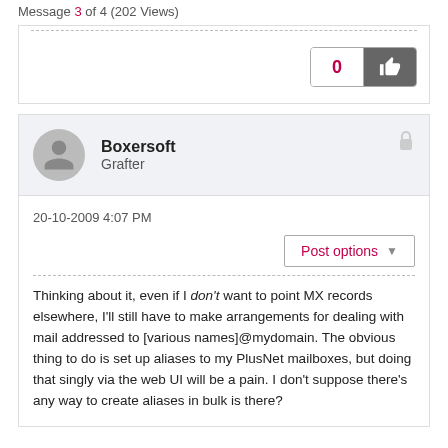Message 3 of 4 (202 Views)
0
Boxersoft
Grafter
20-10-2009 4:07 PM
Post options
Thinking about it, even if I don't want to point MX records elsewhere, I'll still have to make arrangements for dealing with mail addressed to [various names]@mydomain. The obvious thing to do is set up aliases to my PlusNet mailboxes, but doing that singly via the web UI will be a pain. I don't suppose there's any way to create aliases in bulk is there?